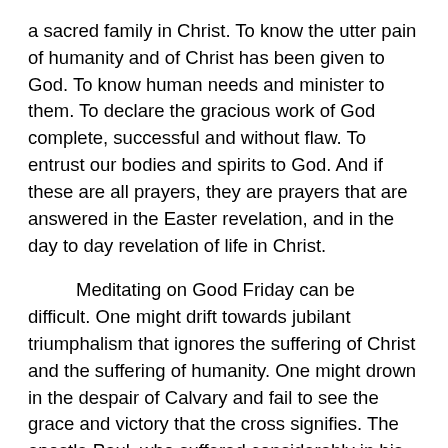a sacred family in Christ. To know the utter pain of humanity and of Christ has been given to God. To know human needs and minister to them. To declare the gracious work of God complete, successful and without flaw. To entrust our bodies and spirits to God. And if these are all prayers, they are prayers that are answered in the Easter revelation, and in the day to day revelation of life in Christ.
Meditating on Good Friday can be difficult. One might drift towards jubilant triumphalism that ignores the suffering of Christ and the suffering of humanity. One might drown in the despair of Calvary and fail to see the grace and victory that the cross signifies. The apostle Paul, who suffered considerably in his ministry, found the cross to be a sign of hope in the midst of suffering, and offers a meditation that I found to be a deeply moving one.